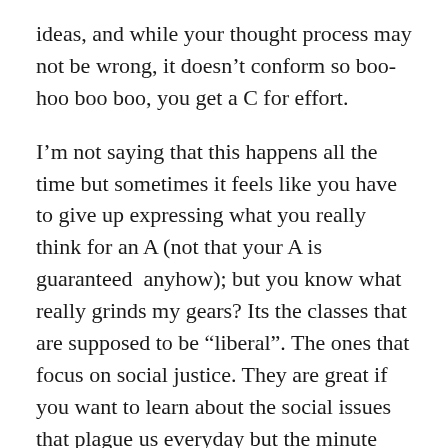ideas, and while your thought process may not be wrong, it doesn’t conform so boo-hoo boo boo, you get a C for effort.
I’m not saying that this happens all the time but sometimes it feels like you have to give up expressing what you really think for an A (not that your A is guaranteed  anyhow); but you know what really grinds my gears? Its the classes that are supposed to be “liberal”. The ones that focus on social justice. They are great if you want to learn about the social issues that plague us everyday but the minute you try to talk about solutions, somebody throws you the vaguest possible term “activism”. Then you try to lift the veil on what activism really means because its all well and good to know the problem but where do we go from here? But you find nothing concrete, and when you even try to